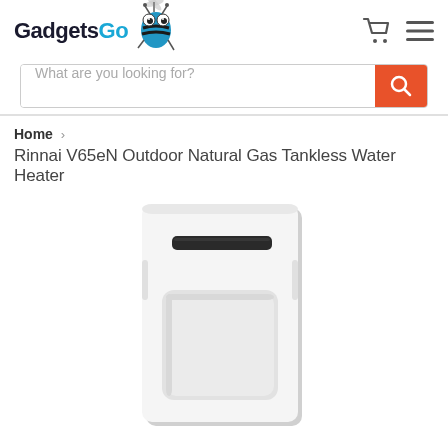[Figure (logo): GadgetsGo logo with cartoon bee mascot and text 'GadgetsGo' where 'Go' is in blue, header icons including cart and hamburger menu]
What are you looking for?
Home > Rinnai V65eN Outdoor Natural Gas Tankless Water Heater
Rinnai V65eN Outdoor Natural Gas Tankless Water Heater
[Figure (photo): Rinnai V65eN Outdoor Natural Gas Tankless Water Heater unit, white rectangular box with a dark horizontal slot near the top and a recessed panel area in the lower half]